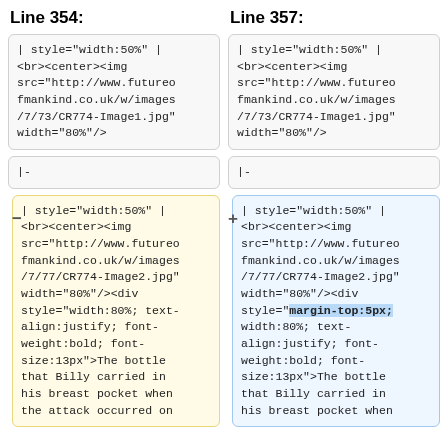Line 354:
Line 357:
| style="width:50%" |
<br><center><img
src="http://www.futureo
fmankind.co.uk/w/images
/7/73/CR774-Image1.jpg"
width="80%"/>
| style="width:50%" |
<br><center><img
src="http://www.futureo
fmankind.co.uk/w/images
/7/73/CR774-Image1.jpg"
width="80%"/>
|-
|-
| style="width:50%" |
<br><center><img
src="http://www.futureo
fmankind.co.uk/w/images
/7/77/CR774-Image2.jpg"
width="80%"/><div
style="width:80%; text-
align:justify; font-
weight:bold; font-
size:13px">The bottle
that Billy carried in
his breast pocket when
the attack occurred on
| style="width:50%" |
<br><center><img
src="http://www.futureo
fmankind.co.uk/w/images
/7/77/CR774-Image2.jpg"
width="80%"/><div
style="margin-top:5px;
width:80%; text-
align:justify; font-
weight:bold; font-
size:13px">The bottle
that Billy carried in
his breast pocket when